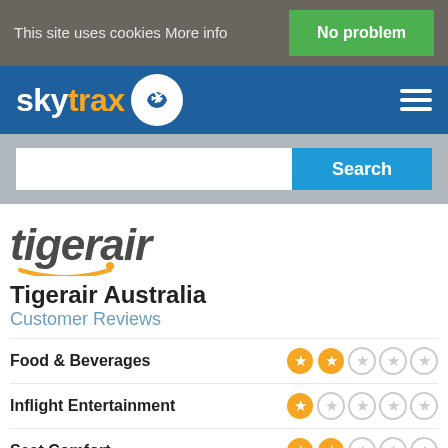This site uses cookies More info
No problem
[Figure (logo): Skytrax logo with airplane speech bubble icon]
Search
[Figure (logo): Tigerair logo wordmark in dark grey italic with orange smile arc]
Tigerair Australia
Customer Reviews
Food & Beverages — 2 out of 5 stars
Inflight Entertainment — 1 out of 5 stars
Seat Comfort — partially visible